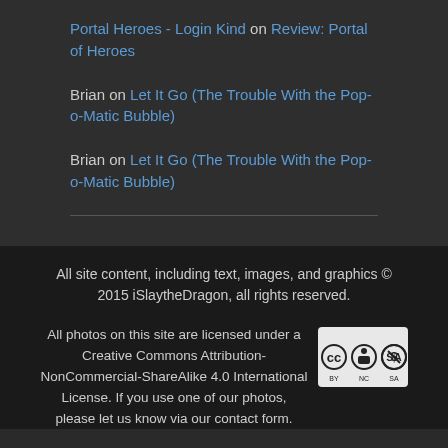Portal Heroes - Login Kind on Review: Portal of Heroes
Brian on Let It Go (The Trouble With the Pop-o-Matic Bubble)
Brian on Let It Go (The Trouble With the Pop-o-Matic Bubble)
All site content, including text, images, and graphics © 2015 iSlaytheDragon, all rights reserved.
All photos on this site are licensed under a Creative Commons Attribution-NonCommercial-ShareAlike 4.0 International License. If you use one of our photos, please let us know via our contact form.